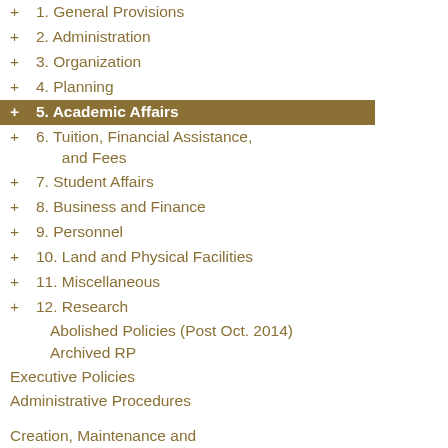+ 1. General Provisions
+ 2. Administration
+ 3. Organization
+ 4. Planning
+ 5. Academic Affairs (highlighted)
+ 6. Tuition, Financial Assistance, and Fees
+ 7. Student Affairs
+ 8. Business and Finance
+ 9. Personnel
+ 10. Land and Physical Facilities
+ 11. Miscellaneous
+ 12. Research
Abolished Policies (Post Oct. 2014)
Archived RP
Executive Policies
Administrative Procedures
Creation, Maintenance and Abolishment
Frequently Asked Questions
UH-Related Laws and Rules
Hawai‘i Revised Statutes (HRS) 304A
Hawai‘i Administrative Rules (HAR) Title 20